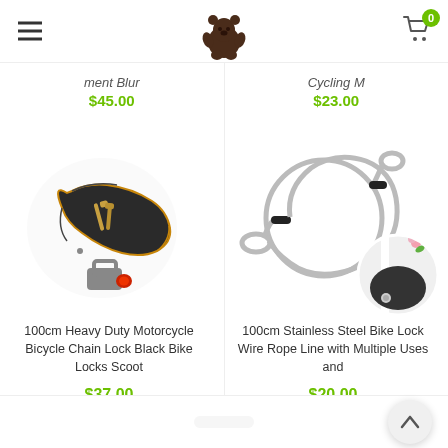Navigation header with hamburger menu, bear logo, and shopping cart with 0 items
ment Blur $45.00
Cycling M $23.00
[Figure (photo): 100cm Heavy Duty Motorcycle Bicycle Chain Lock — black fabric-covered chain with gold trim and keys, red-tipped bolt]
100cm Heavy Duty Motorcycle Bicycle Chain Lock Black Bike Locks Scoot
$37.00
[Figure (photo): 100cm Stainless Steel Bike Lock Wire Rope Line — silver looped cable with black ferrules, inset circle photo showing lock in use]
100cm Stainless Steel Bike Lock Wire Rope Line with Multiple Uses and
$20.00